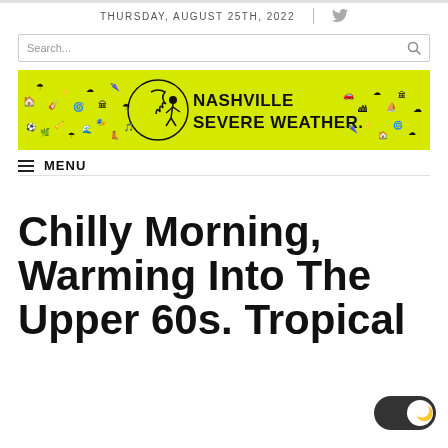THURSDAY, AUGUST 25TH, 2022
[Figure (illustration): Nashville Severe Weather logo banner with yellow background and black illustrated icons of Nashville landmarks and weather-related symbols]
MENU
Chilly Morning, Warming Into The Upper 60s. Tropical